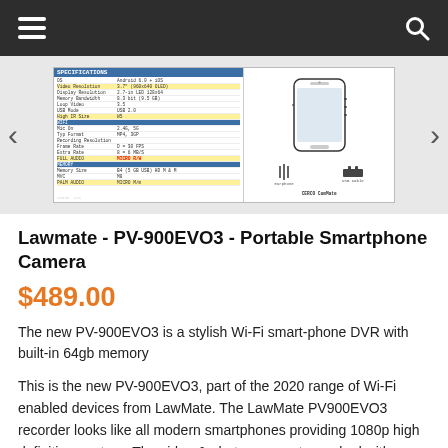Navigation bar with hamburger menu and search icon
[Figure (photo): Product spec sheet image of LawMate PV-900EVO3 smartphone camera, showing specifications table and device diagram, with left and right navigation arrows]
Lawmate - PV-900EVO3 - Portable Smartphone Camera
$489.00
The new PV-900EVO3 is a stylish Wi-Fi smart-phone DVR with built-in 64gb memory
This is the new PV-900EVO3, part of the 2020 range of Wi-Fi enabled devices from LawMate. The LawMate PV900EVO3 recorder looks like all modern smartphones providing 1080p high definition capture. The video & photos are watermarked with a time/day/date stamp